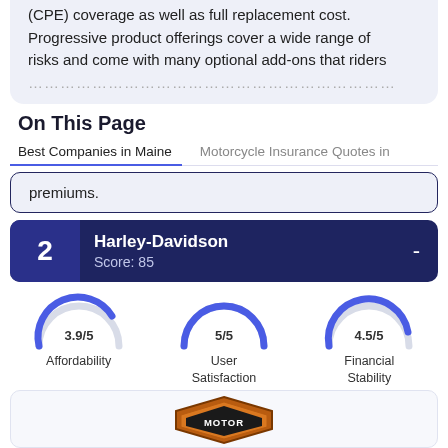(CPE) coverage as well as full replacement cost. Progressive product offerings cover a wide range of risks and come with many optional add-ons that riders…
On This Page
Best Companies in Maine   Motorcycle Insurance Quotes i…
premiums.
2  Harley-Davidson  Score: 85
[Figure (infographic): Three semicircular gauge charts showing scores: Affordability 3.9/5, User Satisfaction 5/5, Financial Stability 4.5/5]
[Figure (logo): Harley-Davidson Motor Company logo, orange and black shield shape with MOTOR text visible]